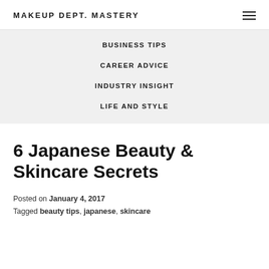MAKEUP DEPT. MASTERY
BUSINESS TIPS
CAREER ADVICE
INDUSTRY INSIGHT
LIFE AND STYLE
6 Japanese Beauty & Skincare Secrets
Posted on January 4, 2017
Tagged beauty tips, japanese, skincare